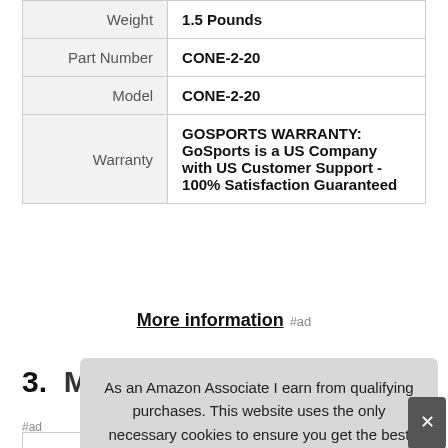| Label | Value |
| --- | --- |
| Weight | 1.5 Pounds |
| Part Number | CONE-2-20 |
| Model | CONE-2-20 |
| Warranty | GOSPORTS WARRANTY: GoSports is a US Company with US Customer Support - 100% Satisfaction Guaranteed |
More information #ad
3. Mi...
As an Amazon Associate I earn from qualifying purchases. This website uses the only necessary cookies to ensure you get the best experience on our website. More information
#ad